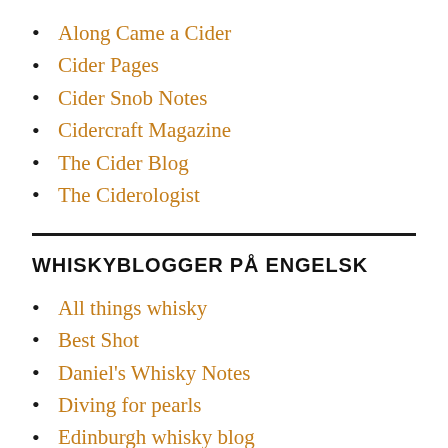Along Came a Cider
Cider Pages
Cider Snob Notes
Cidercraft Magazine
The Cider Blog
The Ciderologist
WHISKYBLOGGER PÅ ENGELSK
All things whisky
Best Shot
Daniel's Whisky Notes
Diving for pearls
Edinburgh whisky blog